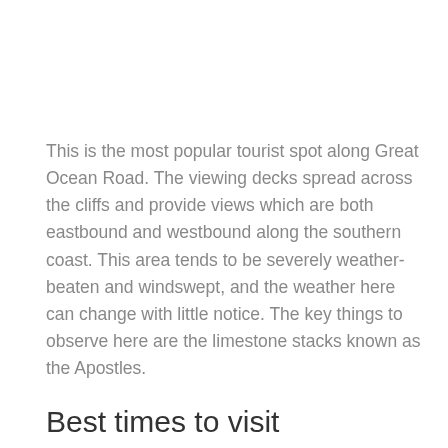This is the most popular tourist spot along Great Ocean Road. The viewing decks spread across the cliffs and provide views which are both eastbound and westbound along the southern coast. This area tends to be severely weather-beaten and windswept, and the weather here can change with little notice. The key things to observe here are the limestone stacks known as the Apostles.
Best times to visit
While the location is open all year round, the best time to shoot here is in the late spring through to the early autumn when the weather is warm. The cooler weather brings with it a lot of rain that can play spoil sport with